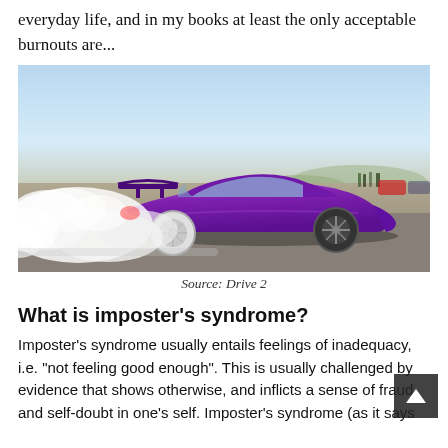everyday life, and in my books at least the only acceptable burnouts are...
[Figure (photo): A purple sports car (Toyota Supra style) doing a burnout on a parking lot, producing large clouds of white tire smoke. The car has a large rear wing. Spectators and other cars visible in the background under a blue sky.]
Source: Drive 2
What is imposter’s syndrome?
Imposter’s syndrome usually entails feelings of inadequacy, i.e. “not feeling good enough”. This is usually challenged by evidence that shows otherwise, and inflicts a sense of fraud and self-doubt in one’s self. Imposter’s syndrome (as it says